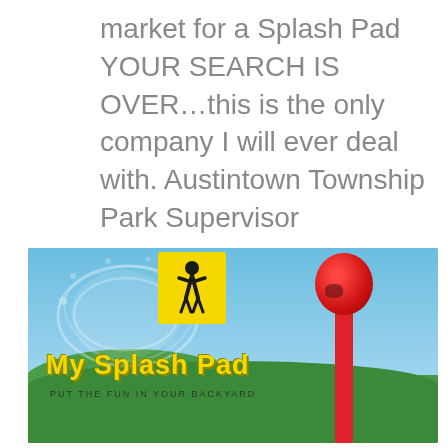market for a Splash Pad YOUR SEARCH IS OVER…this is the only company I will ever deal with. Austintown Township Park Supervisor
[Figure (photo): My Splash Pad company logo photo showing a yellow logo box with a jumping child silhouette, splash water effects, green trees in background, blue sky, and a tall red splash pad pole with a round red top on the right side. Brand text reads 'My Splash Pad' in yellow with tagline below.]